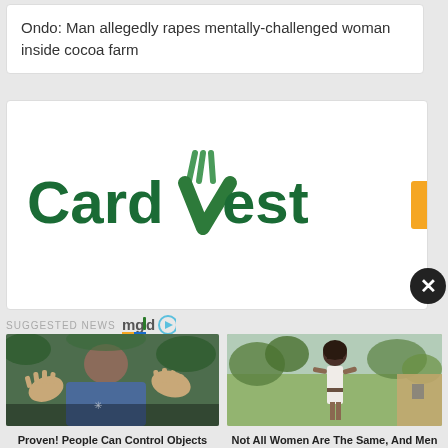Ondo: Man allegedly rapes mentally-challenged woman inside cocoa farm
[Figure (logo): CardVest logo with green text and a green V/checkmark icon with fork tines]
SUGGESTED NEWS mgid
[Figure (photo): Person with hands raised and outstretched, wearing blue denim shirt, with green foliage in background]
Proven! People Can Control Objects With Their Minds
[Figure (photo): Woman in white bodysuit standing outdoors with trees and building in background]
Not All Women Are The Same, And Men Must Remember That